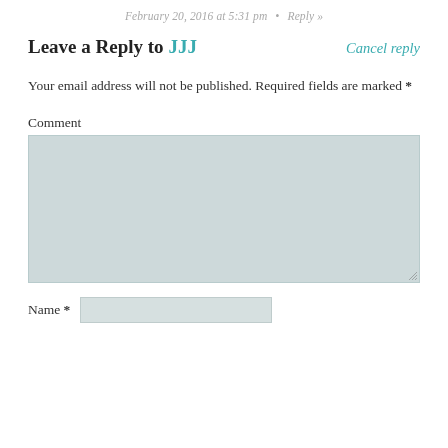February 20, 2016 at 5:31 pm  •  Reply »
Leave a Reply to JJJ
Cancel reply
Your email address will not be published. Required fields are marked *
Comment
Name *